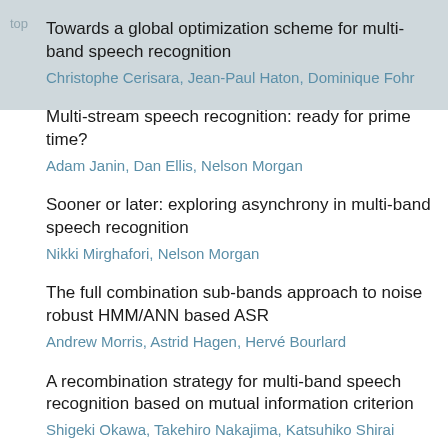top
Towards a global optimization scheme for multi-band speech recognition
Multi-stream speech recognition: ready for prime time?
Sooner or later: exploring asynchrony in multi-band speech recognition
The full combination sub-bands approach to noise robust HMM/ANN based ASR
A recombination strategy for multi-band speech recognition based on mutual information criterion